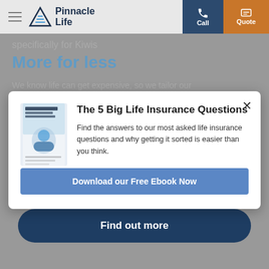[Figure (screenshot): Pinnacle Life insurance website screenshot showing navigation bar with hamburger menu, Pinnacle Life logo, Call and Quote buttons. Background page shows 'specifically for Kiwis', 'More for less' heading, body text about tailoring and online company savings, and a 'Find out more' button. A modal dialog overlays showing '5 Big Life Insurance Questions' ebook with description text and 'Download our Free Ebook Now' button.]
The 5 Big Life Insurance Questions
Find the answers to our most asked life insurance questions and why getting it sorted is easier than you think.
Download our Free Ebook Now